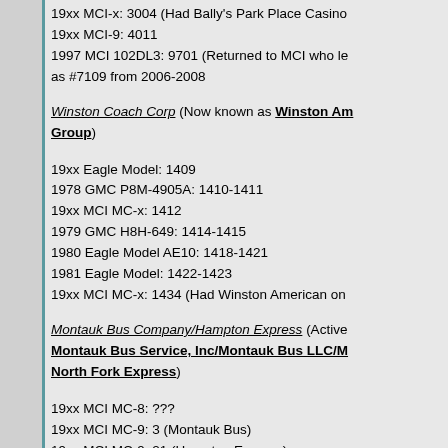19xx MCI-x: 3004 (Had Bally's Park Place Casino
19xx MCI-9: 4011
1997 MCI 102DL3: 9701 (Returned to MCI who le as #7109 from 2006-2008
Winston Coach Corp (Now known as Winston American Group)
19xx Eagle Model: 1409
1978 GMC P8M-4905A: 1410-1411
19xx MCI MC-x: 1412
1979 GMC H8H-649: 1414-1415
1980 Eagle Model AE10: 1418-1421
1981 Eagle Model: 1422-1423
19xx MCI MC-x: 1434 (Had Winston American on
Montauk Bus Company/Hampton Express (Active Montauk Bus Service, Inc/Montauk Bus LLC/M North Fork Express)
19xx MCI MC-8: ???
19xx MCI MC-9: 3 (Montauk Bus)
19xx MCI MC-9: 21 (Hampton Express)
198x MCI xxxx: 20 (Hampton Express, Roll Sign)
19xx MCI/TMC xxxx: 23